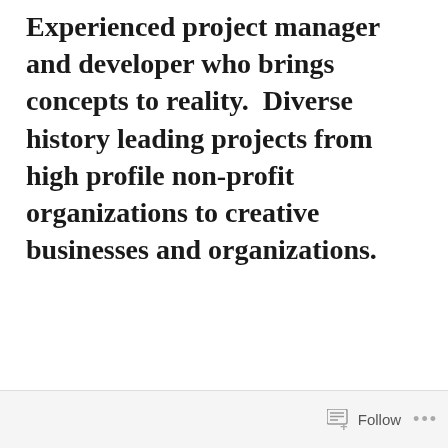Experienced project manager and developer who brings concepts to reality.  Diverse history leading projects from high profile non-profit organizations to creative businesses and organizations.
jody@jodyfeagan.com
[Figure (illustration): Four social media icons in circles: Facebook (blue), Twitter (blue), Instagram (pink/red gradient), LinkedIn (dark blue)]
Follow ...